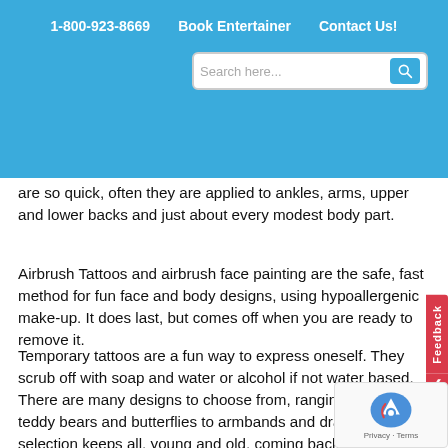1-800-923-8669   Book Entertainer   Contact Us!
[Figure (screenshot): Search bar with placeholder text 'Search here...' and blue search button with magnifying glass icon]
are so quick, often they are applied to ankles, arms, upper and lower backs and just about every modest body part.
Airbrush Tattoos and airbrush face painting are the safe, fast method for fun face and body designs, using hypoallergenic make-up. It does last, but comes off when you are ready to remove it.
Temporary tattoos are a fun way to express oneself. They scrub off with soap and water or alcohol if not water based. There are many designs to choose from, ranging from little teddy bears and butterflies to armbands and dragons. The selection keeps all, young and old, coming back for multiple tattoos throughout an event. Combinations of tattoos and letters add to the endless creative options! Add some glitter and you have a dazzling design that delights both the user and viewer.
With airbrush painting, the brush never touches your face or skin, making this a very hygienic method of applying tattoos. The combination of airbrush and stencils allow for designs that are beautifully blended with resulting shades of color otherwise